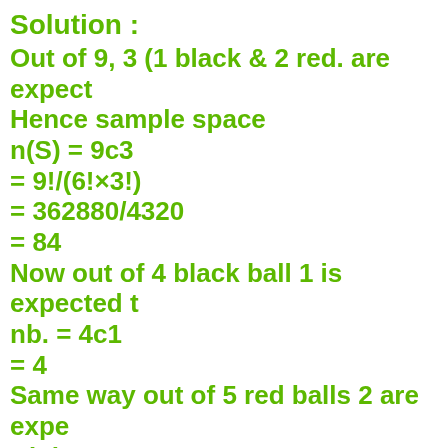Solution :
Out of 9, 3 (1 black & 2 red. are expect
Hence sample space
Now out of 4 black ball 1 is expected t
Same way out of 5 red balls 2 are expe